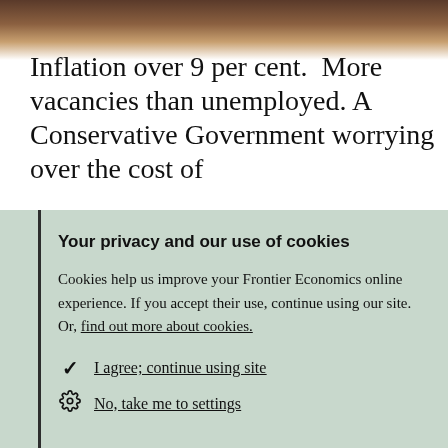[Figure (photo): Partial photo visible at top of page, brownish tones, partially cropped]
Inflation over 9 per cent.  More vacancies than unemployed. A Conservative Government worrying over the cost of
Your privacy and our use of cookies
Cookies help us improve your Frontier Economics online experience. If you accept their use, continue using our site. Or, find out more about cookies.
I agree; continue using site
No, take me to settings